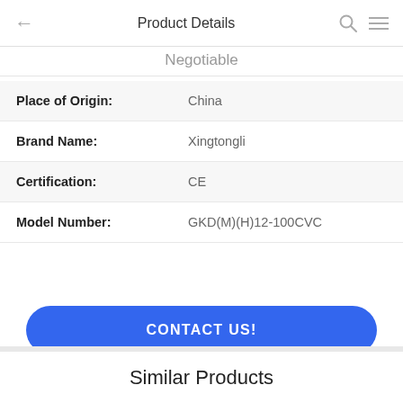← Product Details 🔍 ☰
Negotiable
| Field | Value |
| --- | --- |
| Place of Origin: | China |
| Brand Name: | Xingtongli |
| Certification: | CE |
| Model Number: | GKD(M)(H)12-100CVC |
CONTACT US!
DETAILS
Similar Products